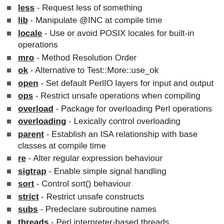less - Request less of something
lib - Manipulate @INC at compile time
locale - Use or avoid POSIX locales for built-in operations
mro - Method Resolution Order
ok - Alternative to Test::More::use_ok
open - Set default PerlIO layers for input and output
ops - Restrict unsafe operations when compiling
overload - Package for overloading Perl operations
overloading - Lexically control overloading
parent - Establish an ISA relationship with base classes at compile time
re - Alter regular expression behaviour
sigtrap - Enable simple signal handling
sort - Control sort() behaviour
strict - Restrict unsafe constructs
subs - Predeclare subroutine names
threads - Perl interpreter-based threads
threads::shared - Perl extension for sharing data